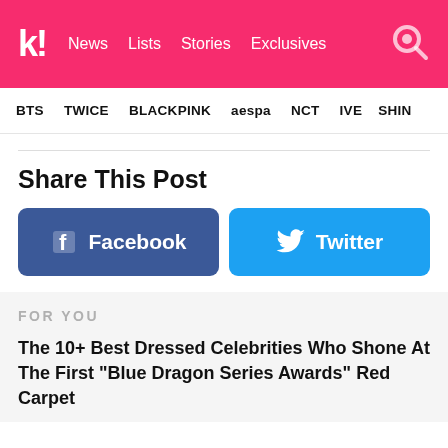k! News Lists Stories Exclusives
BTS  TWICE  BLACKPINK  aespa  NCT  IVE  SHINee
Share This Post
[Figure (screenshot): Facebook share button (blue rounded rectangle with Facebook icon and text 'Facebook')]
[Figure (screenshot): Twitter share button (light blue rounded rectangle with Twitter bird icon and text 'Twitter')]
FOR YOU
The 10+ Best Dressed Celebrities Who Shone At The First "Blue Dragon Series Awards" Red Carpet